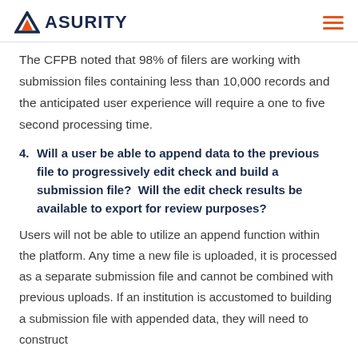ASURITY
The CFPB noted that 98% of filers are working with submission files containing less than 10,000 records and the anticipated user experience will require a one to five second processing time.
4. Will a user be able to append data to the previous file to progressively edit check and build a submission file?  Will the edit check results be available to export for review purposes?
Users will not be able to utilize an append function within the platform. Any time a new file is uploaded, it is processed as a separate submission file and cannot be combined with previous uploads. If an institution is accustomed to building a submission file with appended data, they will need to construct